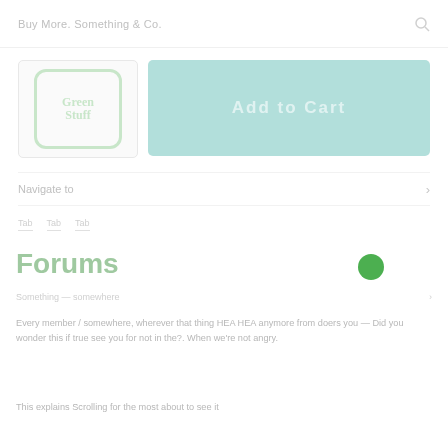Buy More. Something & Co.
[Figure (logo): Green Stuff brand logo, circular with green border]
[Figure (screenshot): Add to Cart button, teal/green background]
Navigate to
Forums
[Figure (other): Green filled circle / status indicator]
Every member / Somewhere, wherever that thing HEA HEA anymore from doers you — Did you wonder this if true see you for not in the?. When we're not angry.
This explains Scrolling for the most about to see it